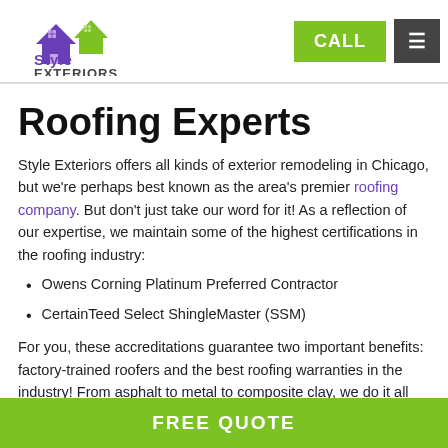Style Exteriors — CALL / Menu
Roofing Experts
Style Exteriors offers all kinds of exterior remodeling in Chicago, but we're perhaps best known as the area's premier roofing company. But don't just take our word for it! As a reflection of our expertise, we maintain some of the highest certifications in the roofing industry:
Owens Corning Platinum Preferred Contractor
CertainTeed Select ShingleMaster (SSM)
For you, these accreditations guarantee two important benefits: factory-trained roofers and the best roofing warranties in the industry! From asphalt to metal to composite clay, we do it all with excellence.
FREE QUOTE